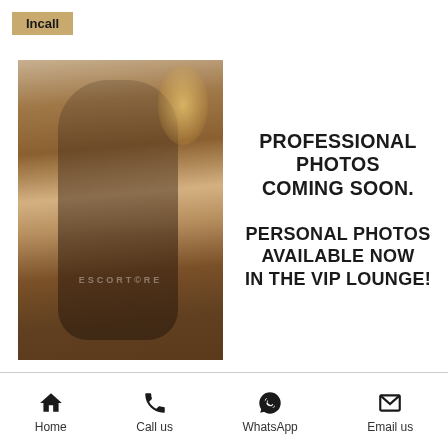Incall
[Figure (photo): Woman in black lingerie seated on a chair in a warmly lit room with wood paneling and a lamp, viewed from behind. Watermark text partially visible.]
PROFESSIONAL PHOTOS COMING SOON.

PERSONAL PHOTOS AVAILABLE NOW IN THE VIP LOUNGE!
Home   Call us   WhatsApp   Email us